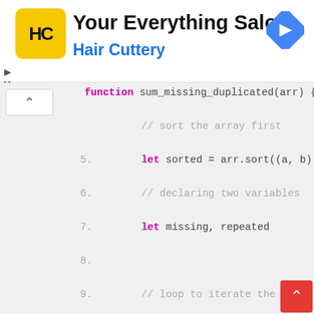[Figure (logo): Hair Cuttery advertisement banner with yellow HC logo, title 'Your Everything Salon', subtitle 'Hair Cuttery', and a blue navigation diamond icon]
[Figure (screenshot): JavaScript code editor showing function sum_missing_duplicated(arr) with lines 5-18, featuring syntax highlighting in monospace font on grey background]